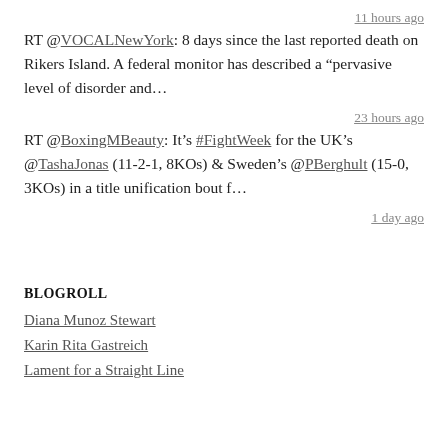11 hours ago
RT @VOCALNewYork: 8 days since the last reported death on Rikers Island. A federal monitor has described a “pervasive level of disorder and...
23 hours ago
RT @BoxingMBeauty: It’s #FightWeek for the UK’s @TashaJonas (11-2-1, 8KOs) & Sweden’s @PBerghult (15-0, 3KOs) in a title unification bout f...
1 day ago
BLOGROLL
Diana Munoz Stewart
Karin Rita Gastreich
Lament for a Straight Line